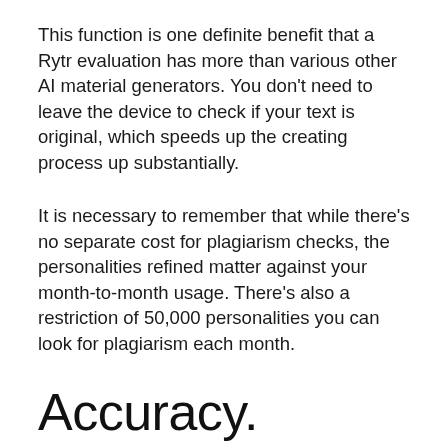This function is one definite benefit that a Rytr evaluation has more than various other AI material generators. You don't need to leave the device to check if your text is original, which speeds up the creating process up substantially.
It is necessary to remember that while there's no separate cost for plagiarism checks, the personalities refined matter against your month-to-month usage. There's also a restriction of 50,000 personalities you can look for plagiarism each month.
Accuracy.
Points are rather hit-and-miss with Rytr when it comes to accuracy of your writing.